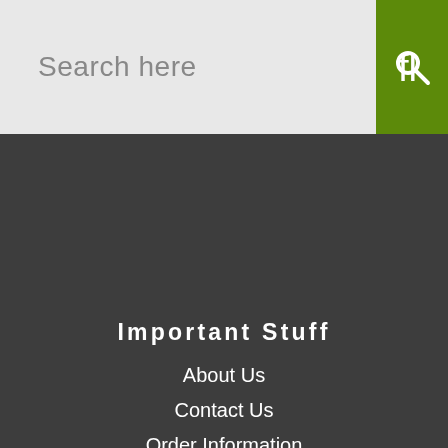Search here
Apprentice
Sale
Gift Cards
Important Stuff
About Us
Contact Us
Order Information
Delivery Information
Returns
Terms & Conditions
Privacy Policy
Price Match
Request Catalogue